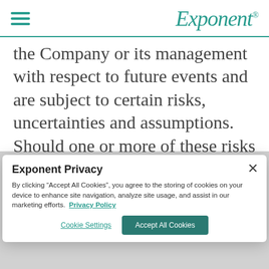Exponent
the Company or its management with respect to future events and are subject to certain risks, uncertainties and assumptions. Should one or more of these risks or uncertainties materialize, or should underlying assumptions prove
Exponent Privacy
By clicking “Accept All Cookies”, you agree to the storing of cookies on your device to enhance site navigation, analyze site usage, and assist in our marketing efforts. Privacy Policy
Cookie Settings  Accept All Cookies